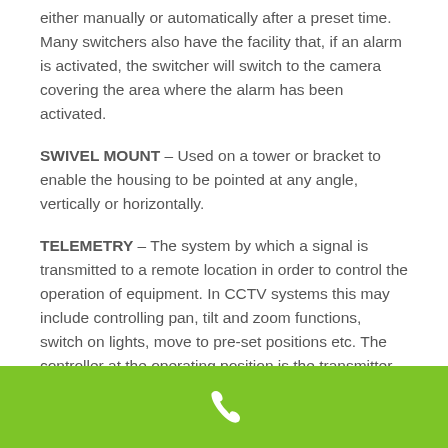either manually or automatically after a preset time. Many switchers also have the facility that, if an alarm is activated, the switcher will switch to the camera covering the area where the alarm has been activated.
SWIVEL MOUNT – Used on a tower or bracket to enable the housing to be pointed at any angle, vertically or horizontally.
TELEMETRY – The system by which a signal is transmitted to a remote location in order to control the operation of equipment. In CCTV systems this may include controlling pan, tilt and zoom functions, switch on lights, move to pre-set positions etc. The controller at the operating position is the transmitter and there is a receiver at the remote location. The signal can be transmitted along a simple twisted pair cable or along
[Figure (other): Green footer bar with a white phone/call icon centered]